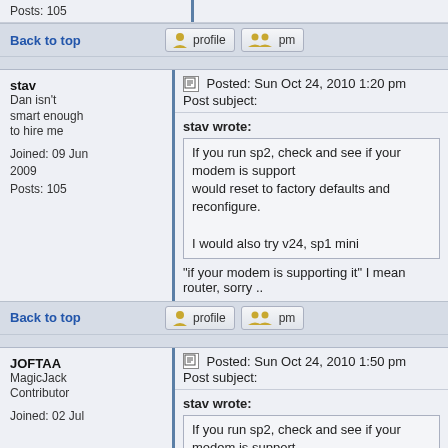Posts: 105
Back to top
stav
Dan isn't smart enough to hire me
Joined: 09 Jun 2009
Posts: 105
Posted: Sun Oct 24, 2010 1:20 pm    Post subject:
stav wrote:
If you run sp2, check and see if your modem is supporting it would reset to factory defaults and reconfigure.
I would also try v24, sp1 mini
"if your modem is supporting it" I mean router, sorry ..
Back to top
JOFTAA
MagicJack Contributor
Joined: 02 Jul
Posted: Sun Oct 24, 2010 1:50 pm    Post subject:
stav wrote:
If you run sp2, check and see if your modem is supporting it would reset to factory defaults and reconfigure.